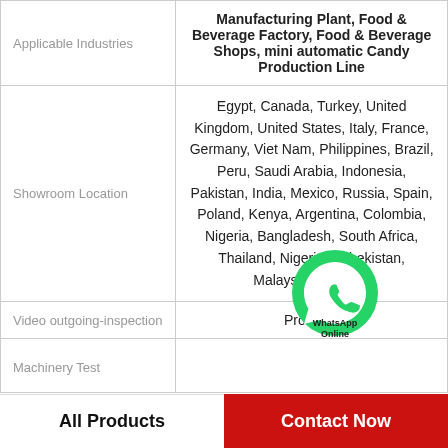|  |  |
| --- | --- |
| Applicable Industries | Manufacturing Plant, Food & Beverage Factory, Food & Beverage Shops, mini automatic Candy Production Line |
| Showroom Location | Egypt, Canada, Turkey, United Kingdom, United States, Italy, France, Germany, Viet Nam, Philippines, Brazil, Peru, Saudi Arabia, Indonesia, Pakistan, India, Mexico, Russia, Spain, Poland, Kenya, Argentina, Colombia, Nigeria, Bangladesh, South Africa, Thailand, Nigeria, Uzbekistan, Malaysia, Australia |
| Video outgoing-inspection | Provided |
| Machinery Test |  |
All Products
Contact Now